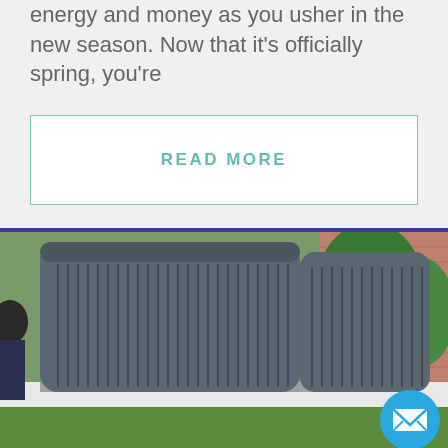energy and money as you usher in the new season. Now that it's officially spring, you're
READ MORE
[Figure (photo): Outdoor HVAC air conditioning unit next to a brick building with trees in the background and a person partially visible on the left side]